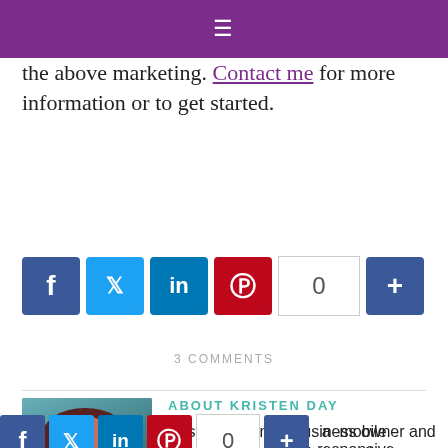≡
the above marketing. Contact me for more information or to get started.
[Figure (infographic): Social sharing buttons: Facebook, Twitter, LinkedIn, Pinterest, share count 0, and a + button]
3 COMMENTS
[Figure (photo): Headshot photo of Kristen Day, a woman with dark reddish-brown hair, smiling, wearing dark clothing]
ABOUT KRISTEN DAY
Kristen is a small business owner and thus dedicated to other small business owners by helping them improve their online presence and mobile responsive
[Figure (infographic): Social sharing buttons at bottom: Facebook, Twitter, LinkedIn, Pinterest, share count 0, and a + button]